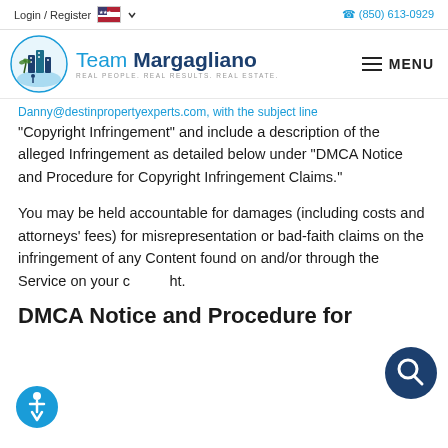Login / Register  (850) 613-0929
[Figure (logo): Team Margagliano real estate logo with circular icon showing buildings and palm trees, teal and navy colors. Text reads 'Team Margagliano — Real People. Real Results. Real Estate.']
Danny@destinpropertyexperts.com, with the subject line "Copyright Infringement" and include a description of the alleged Infringement as detailed below under "DMCA Notice and Procedure for Copyright Infringement Claims."
You may be held accountable for damages (including costs and attorneys' fees) for misrepresentation or bad-faith claims on the infringement of any Content found on and/or through the Service on your copyright.
DMCA Notice and Procedure for